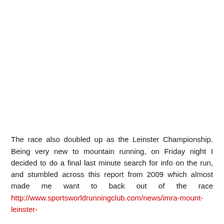The race also doubled up as the Leinster Championship. Being very new to mountain running, on Friday night I decided to do a final last minute search for info on the run, and stumbled across this report from 2009 which almost made me want to back out of the race http://www.sportsworldrunningclub.com/news/imra-mount-leinster-